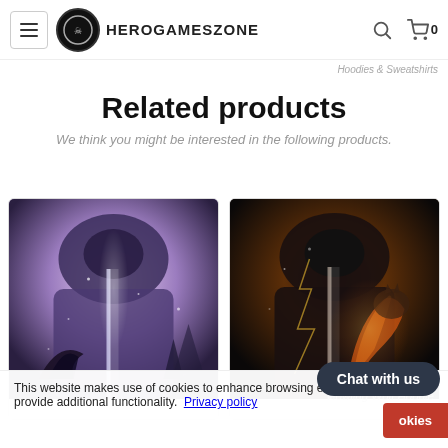HeroGamesZone — navigation header with hamburger menu, logo, search and cart icons
Hoodies & Sweatshirts
Related products
We think you might be interested in the following products.
[Figure (photo): Hoodie product image with wolf/winter forest graphic, purple-white tones]
[Figure (photo): Hoodie product image with howling wolf graphic, dark tones with orange lightning]
Howling Wolf Hoodie
This website makes use of cookies to enhance browsing experience and provide additional functionality.  Privacy policy
Chat with us
okies